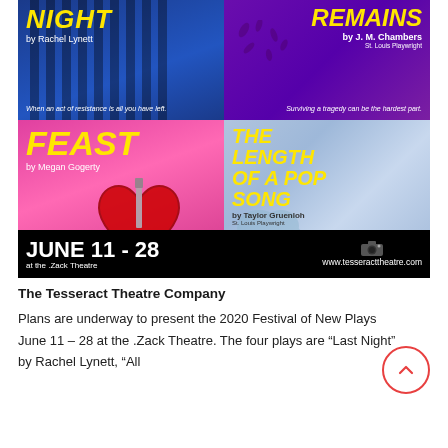[Figure (illustration): Promotional poster for Tesseract Theatre Company's 2020 Festival of New Plays, June 11-28 at the .Zack Theatre. Features four play posters: 'Last Night' by Rachel Lynett (blue background), 'All Remains' by J. M. Chambers St. Louis Playwright (purple background), 'Feast' by Megan Gogerty (pink background), and 'The Length of a Pop Song' by Taylor Gruenloh St. Louis Playwright (blue/lavender background). Bottom banner shows 'JUNE 11 - 28 at the .Zack Theatre' and 'www.tesseracttheatre.com'.]
The Tesseract Theatre Company
Plans are underway to present the 2020 Festival of New Plays June 11 – 28 at the .Zack Theatre. The four plays are “Last Night” by Rachel Lynett, “All